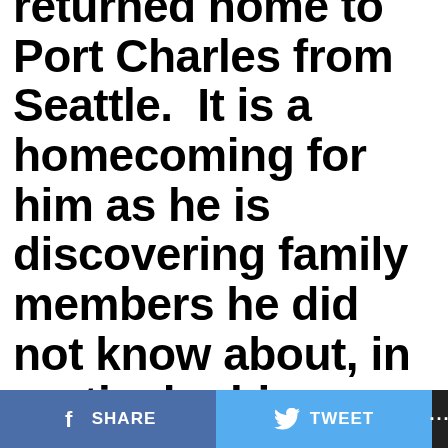returned home to Port Charles from Seattle.  It is a homecoming for him as he is discovering family members he did not know about, in particular his biological father.  I have enjoyed that parallel journey for myself and for Lucas.  Really, of the people that are there at GH now, Jackie is the only one I have worked with before.  I
SHARE   TWEET   ...